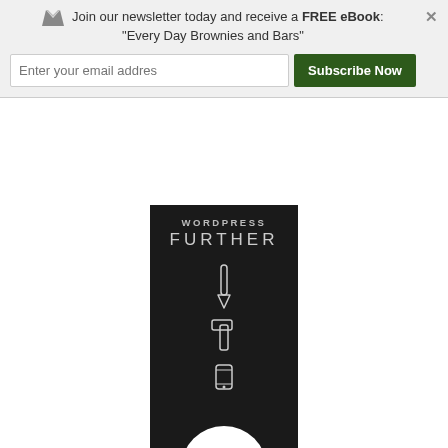Join our newsletter today and receive a FREE eBook: "Every Day Brownies and Bars"
[Figure (screenshot): Email input field placeholder 'Enter your email addres' and a dark green 'Subscribe Now' button]
[Figure (illustration): WordPress Further Genesis Framework advertisement banner: dark background with WORDPRESS FURTHER text, three icons (pencil, hammer/tool, mobile phone), large white circle with G letter, GENESIS framework text at bottom]